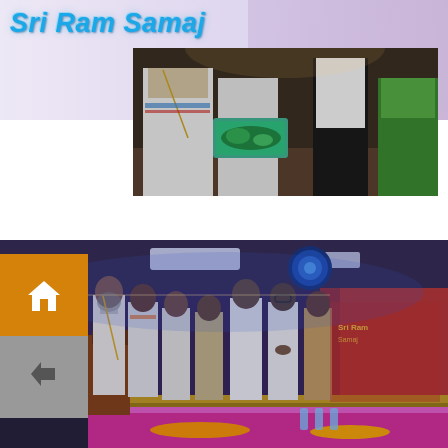Sri Ram Samaj
[Figure (photo): Close-up photo of a religious ceremony/puja, showing people in traditional attire including white dhoti, with someone holding a teal/green tray with offerings]
[Figure (photo): Group photo of men standing at a podium/stage at an event hall. Several men in white traditional attire (dhoti) and others in formal shirts. A podium with microphone is visible on the left. Decorated backdrop with lights and banners in the background. A table with water bottles and marigold flowers visible in the foreground.]